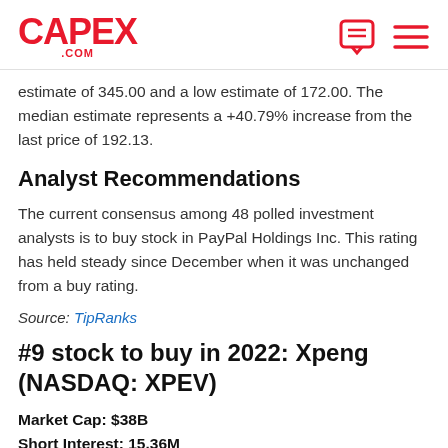CAPEX .COM
estimate of 345.00 and a low estimate of 172.00. The median estimate represents a +40.79% increase from the last price of 192.13.
Analyst Recommendations
The current consensus among 48 polled investment analysts is to buy stock in PayPal Holdings Inc. This rating has held steady since December when it was unchanged from a buy rating.
Source: TipRanks
#9 stock to buy in 2022: Xpeng (NASDAQ: XPEV)
Market Cap: $38B
Short Interest: 15.36M